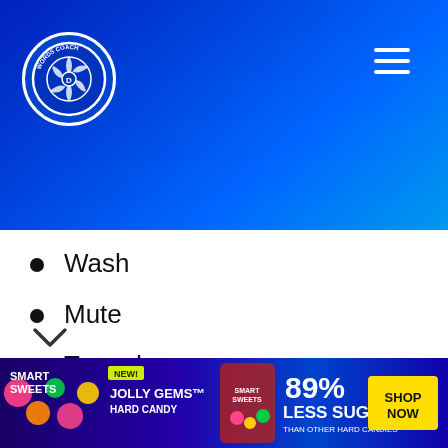[Figure (logo): Words Coach circular logo with camera aperture design on blue gradient header background with hamburger menu icon]
Wash
Mute
Tone down
Hamper
Hinder
Diminish
Quell
[Figure (photo): Smart Sweets Jolly Gems Hard Candy advertisement banner — 89% Less Sugar than other hard candies, Shop Now button]